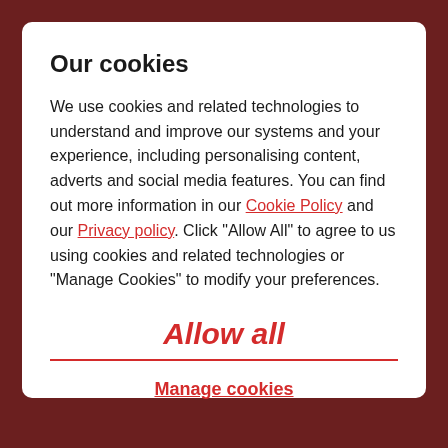Our cookies
We use cookies and related technologies to understand and improve our systems and your experience, including personalising content, adverts and social media features. You can find out more information in our Cookie Policy and our Privacy policy. Click "Allow All" to agree to us using cookies and related technologies or "Manage Cookies" to modify your preferences.
Allow all
Manage cookies